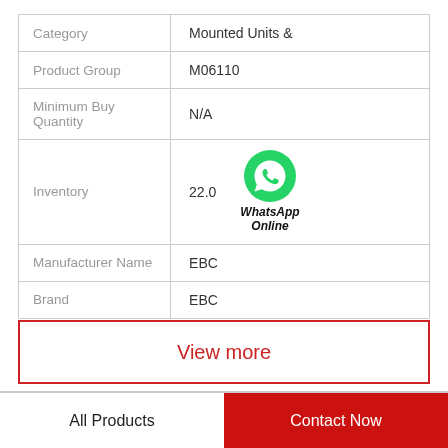| Field | Value |
| --- | --- |
| Category | Mounted Units & |
| Product Group | M06110 |
| Minimum Buy Quantity | N/A |
| Inventory | 22.0 |
| Manufacturer Name | EBC |
| Brand | EBC |
View more
All Products
Contact Now